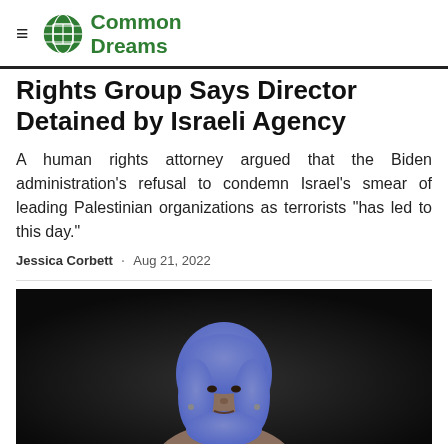Common Dreams
Rights Group Says Director Detained by Israeli Agency
A human rights attorney argued that the Biden administration's refusal to condemn Israel's smear of leading Palestinian organizations as terrorists "has led to this day."
Jessica Corbett · Aug 21, 2022
[Figure (photo): Photo of a woman wearing a blue hijab speaking, shown from shoulders up against a dark background]
Social sharing icons: Facebook, Twitter, Email, Link, Comments (6), Give